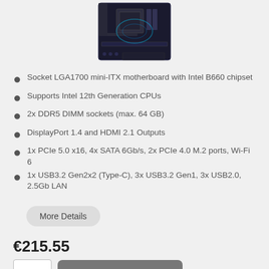[Figure (photo): Photo of a mini-ITX motherboard (ASUS ROG or similar) with dark PCB and RGB lighting, viewed from above at an angle.]
Socket LGA1700 mini-ITX motherboard with Intel B660 chipset
Supports Intel 12th Generation CPUs
2x DDR5 DIMM sockets (max. 64 GB)
DisplayPort 1.4 and HDMI 2.1 Outputs
1x PCIe 5.0 x16, 4x SATA 6Gb/s, 2x PCIe 4.0 M.2 ports, Wi-Fi 6
1x USB3.2 Gen2x2 (Type-C), 3x USB3.2 Gen1, 3x USB2.0, 2.5Gb LAN
More Details
€215.55
1
Add to Basket